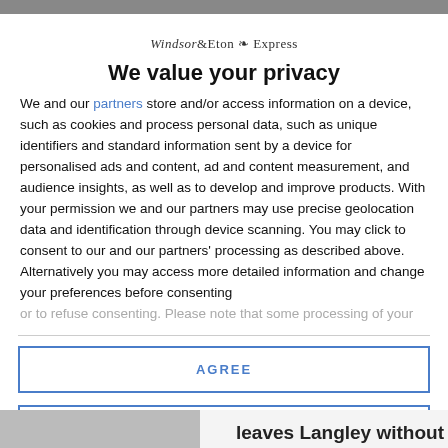Windsor & Eton Express
We value your privacy
We and our partners store and/or access information on a device, such as cookies and process personal data, such as unique identifiers and standard information sent by a device for personalised ads and content, ad and content measurement, and audience insights, as well as to develop and improve products. With your permission we and our partners may use precise geolocation data and identification through device scanning. You may click to consent to our and our partners' processing as described above. Alternatively you may access more detailed information and change your preferences before consenting or to refuse consenting. Please note that some processing of your
AGREE
MORE OPTIONS
leaves Langley without